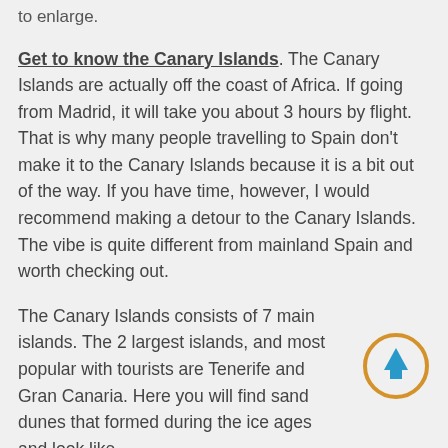to enlarge.
Get to know the Canary Islands. The Canary Islands are actually off the coast of Africa. If going from Madrid, it will take you about 3 hours by flight. That is why many people travelling to Spain don't make it to the Canary Islands because it is a bit out of the way. If you have time, however, I would recommend making a detour to the Canary Islands. The vibe is quite different from mainland Spain and worth checking out.
The Canary Islands consists of 7 main islands. The 2 largest islands, and most popular with tourists are Tenerife and Gran Canaria. Here you will find sand dunes that formed during the ice ages and look like
[Figure (other): Scroll-to-top button: a circle with an orange/gold border and a blue upward-pointing arrow inside]